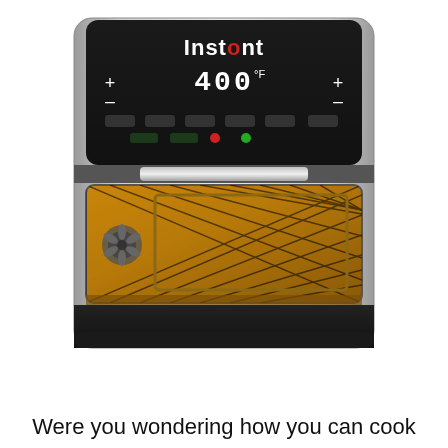[Figure (photo): Front view of an Instant brand air fryer oven with stainless steel body, black digital control panel at top showing '400' temperature display and the Instant logo, and a large glass window door revealing a wire rack basket inside illuminated with warm golden light.]
Were you wondering how you can cook